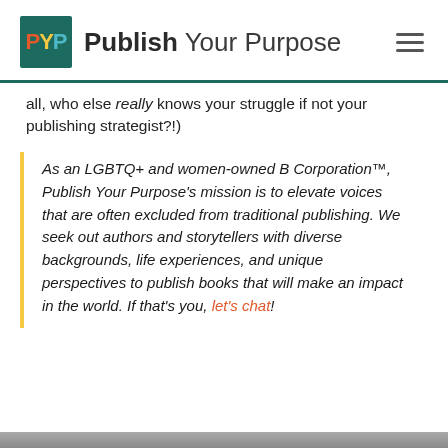PYP Publish Your Purpose
all, who else really knows your struggle if not your publishing strategist?!)
As an LGBTQ+ and women-owned B Corporation™, Publish Your Purpose's mission is to elevate voices that are often excluded from traditional publishing. We seek out authors and storytellers with diverse backgrounds, life experiences, and unique perspectives to publish books that will make an impact in the world. If that's you, let's chat!
[Figure (photo): Partial photo visible at the bottom of the page]